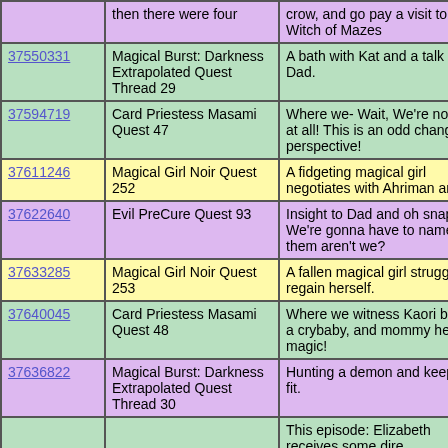| ID | Quest | Description |
| --- | --- | --- |
|  | then there were four | crow, and go pay a visit to the Witch of Mazes |
| 37550331 | Magical Burst: Darkness Extrapolated Quest Thread 29 | A bath with Kat and a talk with Dad. |
| 37594719 | Card Priestess Masami Quest 47 | Where we- Wait, We're not "we" at all! This is an odd change in perspective! |
| 37611246 | Magical Girl Noir Quest 252 | A fidgeting magical girl negotiates with Ahriman and... |
| 37622640 | Evil PreCure Quest 93 | Insight to Dad and oh snap! We're gonna have to name them aren't we? |
| 37633285 | Magical Girl Noir Quest 253 | A fallen magical girl struggles to regain herself. |
| 37640045 | Card Priestess Masami Quest 48 | Where we witness Kaori being a crybaby, and mommy healing magic! |
| 37636822 | Magical Burst: Darkness Extrapolated Quest Thread 30 | Hunting a demon and keeping fit. |
|  |  | This episode: Elizabeth receives some dire |